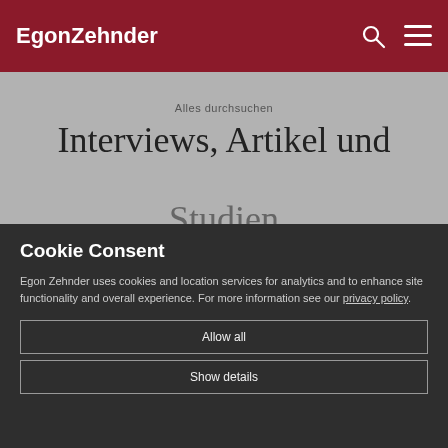EgonZehnder
Alles durchsuchen
Interviews, Artikel und Studien
Cookie Consent
Egon Zehnder uses cookies and location services for analytics and to enhance site functionality and overall experience. For more information see our privacy policy.
Allow all
Show details